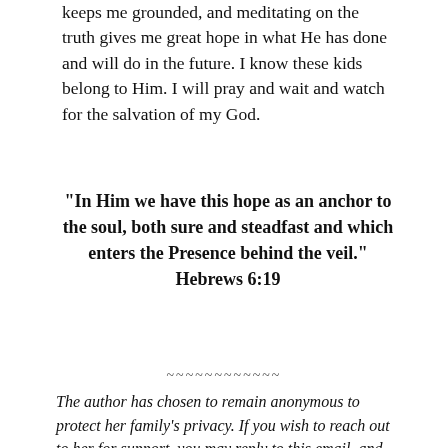keeps me grounded, and meditating on the truth gives me great hope in what He has done and will do in the future. I know these kids belong to Him. I will pray and wait and watch for the salvation of my God.
“In Him we have this hope as an anchor to the soul, both sure and steadfast and which enters the Presence behind the veil.” Hebrews 6:19
~~~~~~~~~~~~
The author has chosen to remain anonymous to protect her family’s privacy. If you wish to reach out to her for support, you may reply to this email, and the leadership team will connect you through email.